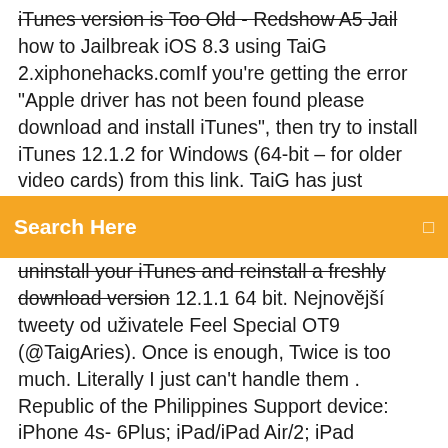iTunes version is Too Old - Redshow A5 Jail how to Jailbreak iOS 8.3 using TaiG 2.xiphonehacks.comIf you're getting the error "Apple driver has not been found please download and install iTunes", then try to install iTunes 12.1.2 for Windows (64-bit – for older video cards) from this link. TaiG has just released the latest version of their Jailbreak tool. This latest version can
[Figure (screenshot): Orange search bar with 'Search Here' text and a search icon]
uninstall your iTunes and reinstall a freshly download version 12.1.1 64 bit. Nejnovější tweety od uživatele Feel Special OT9 (@TaigAries). Once is enough, Twice is too much. Literally I just can't handle them . Republic of the Philippines Support device: iPhone 4s- 6Plus; iPad/iPad Air/2; iPad mini/mini2/mini3; iPod touch 5 http://www.taig.com/en/ The latest errors which TaiG users are facing are iTunes 64 bit driver error that shows that "Apple DriverContinue ReadingiNati0n / How To Fix TaiG Stuck 20%, Error 1101, & Apple Driver...inati0n.com/how-to-fix-ios-8-3-jailbreak-taig-stuck-20-apple...Trying to jailbreak iOS 8.3, but gets